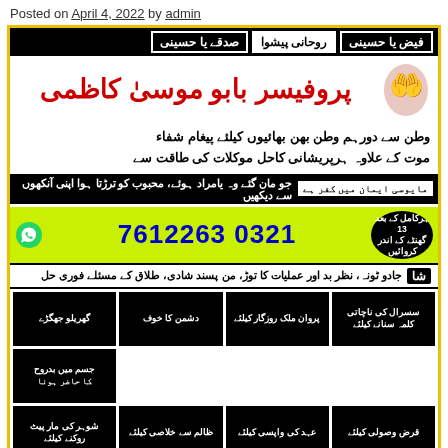Posted on April 4, 2022 by admin
[Figure (infographic): Urdu language advertisement for Rohani (spiritual) services. Header with three names: Faiz Ya Hussaini, Rohani Peshwa, Sadqa Ya Hussaini. Main title: Professor Babu Moosa Kazmi in large red Urdu script. Text about services for brothers and sisters abroad. Phone number 0321 7612263 with WhatsApp icon. Grid of black banner boxes listing various spiritual services.]